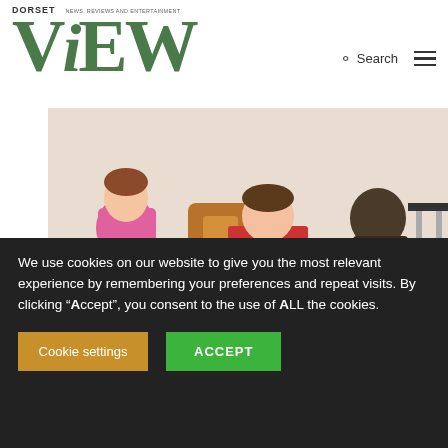DORSET ViEW — NEWS, REVIEWS AND ENTERTAINMENT
[Figure (photo): Children sitting on a floor, one wearing a red and blue striped top, another in pink, with chairs visible in the background.]
Music grant to benefit children in Dorset
We use cookies on our website to give you the most relevant experience by remembering your preferences and repeat visits. By clicking "Accept", you consent to the use of ALL the cookies.